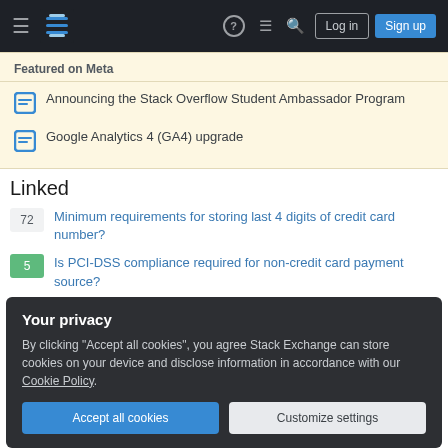Stack Overflow navigation bar with Log in and Sign up buttons
Featured on Meta
Announcing the Stack Overflow Student Ambassador Program
Google Analytics 4 (GA4) upgrade
Linked
72 — Minimum requirements for storing last 4 digits of credit card number?
5 — Is PCI-DSS compliance required for non-credit card payment source?
Your privacy
By clicking "Accept all cookies", you agree Stack Exchange can store cookies on your device and disclose information in accordance with our Cookie Policy.
Accept all cookies | Customize settings
2 — PCI Compliance requirement when storing card data on user's